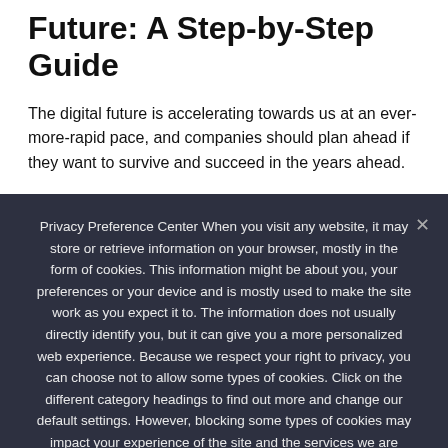Future: A Step-by-Step Guide
The digital future is accelerating towards us at an ever-more-rapid pace, and companies should plan ahead if they want to survive and succeed in the years ahead.
Privacy Preference Center When you visit any website, it may store or retrieve information on your browser, mostly in the form of cookies. This information might be about you, your preferences or your device and is mostly used to make the site work as you expect it to. The information does not usually directly identify you, but it can give you a more personalized web experience. Because we respect your right to privacy, you can choose not to allow some types of cookies. Click on the different category headings to find out more and change our default settings. However, blocking some types of cookies may impact your experience of the site and the services we are able to offer.
Ok   Privacy policy